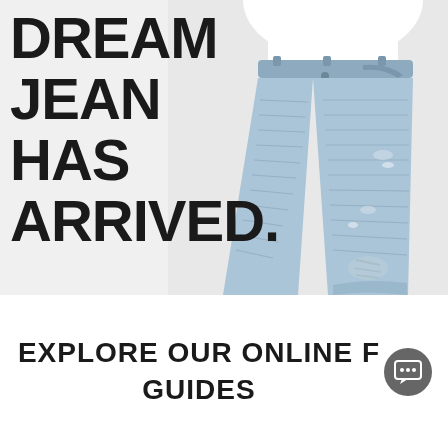[Figure (photo): Advertisement image showing a person wearing light blue distressed jeans paired with a white top. The lower torso and legs are visible. Large bold black text on the left reads 'DREAM JEAN HAS ARRIVED.' on a light gray/white background.]
EXPLORE OUR ONLINE F... GUIDES